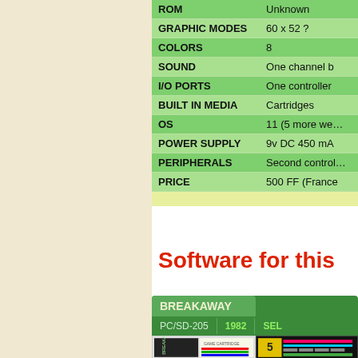| Specification | Value |
| --- | --- |
| ROM | Unknown |
| GRAPHIC MODES | 60 x 52 ? |
| COLORS | 8 |
| SOUND | One channel b |
| I/O PORTS | One controller |
| BUILT IN MEDIA | Cartridges |
| OS | 11 (5 more we… |
| POWER SUPPLY | 9v DC 450 mA |
| PERIPHERALS | Second control… |
| PRICE | 500 FF (France |
Software for this
BREAKAWAY
PC/SD-205 | 1982 | SEL
[Figure (photo): Cartridge box art for BREAKAWAY game]
[Figure (screenshot): Game screenshot showing colored screen]